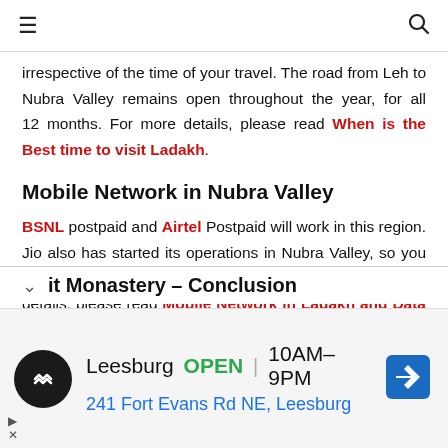≡  🔍
irrespective of the time of your travel. The road from Leh to Nubra Valley remains open throughout the year, for all 12 months. For more details, please read When is the Best time to visit Ladakh.
Mobile Network in Nubra Valley
BSNL postpaid and Airtel Postpaid will work in this region. Jio also has started its operations in Nubra Valley, so you might also get the connection of Jio postpaid. For more details, please read Mobile Network in Ladakh and Data Connectivity.
it Monastery – Conclusion
[Figure (infographic): Advertisement banner: Leesburg store, OPEN 10AM–9PM, 241 Fort Evans Rd NE, Leesburg, with navigation arrow icon]